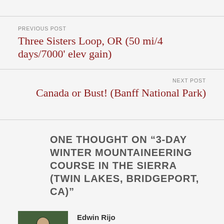PREVIOUS POST
Three Sisters Loop, OR (50 mi/4 days/7000' elev gain)
NEXT POST
Canada or Bust! (Banff National Park)
ONE THOUGHT ON “3-DAY WINTER MOUNTAINEERING COURSE IN THE SIERRA (TWIN LAKES, BRIDGEPORT, CA)”
Edwin Rijo